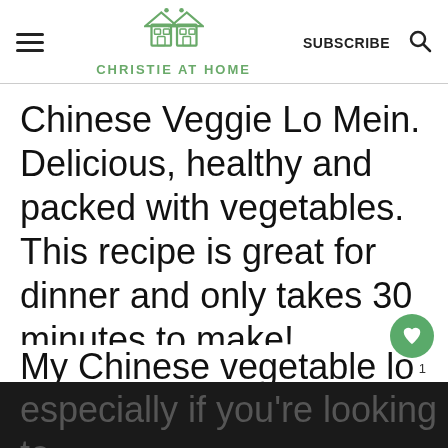CHRISTIE AT HOME
Chinese Veggie Lo Mein. Delicious, healthy and packed with vegetables. This recipe is great for dinner and only takes 30 minutes to make!
My Chinese vegetable lo mein recipe is super easy to make and is a great addition to any mea... especially if you're looking to